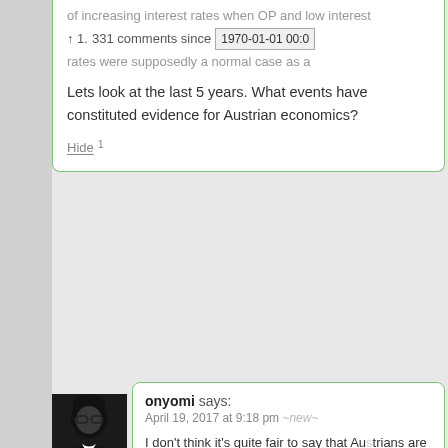of increasing interest rates when OP and low interest rates were supposedly a normal case as a...
↑ 1. 331 comments since 1970-01-01 00:0
Lets look at the last 5 years. What events have constituted evidence for Austrian economics?
Hide 1
onyomi says:
April 19, 2017 at 9:18 pm ~new~
I don't think it's quite fair to say that Austrians are opposed to empiricism, though opinions on the proper relationship of data and theory vary within the "school."
My personal understanding of the "orthodox" Austrian take on theory v. data is that theory must guide the selection and interpretation of data because in economics, there can